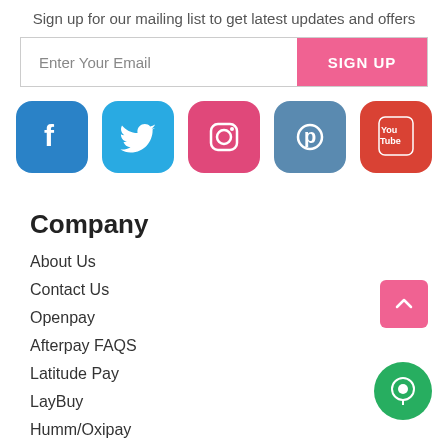Sign up for our mailing list to get latest updates and offers
Enter Your Email
SIGN UP
[Figure (infographic): Social media icons: Facebook (blue), Twitter (light blue), Instagram (pink), Pinterest (steel blue), YouTube (red)]
Company
About Us
Contact Us
Openpay
Afterpay FAQS
Latitude Pay
LayBuy
Humm/Oxipay
Zippay